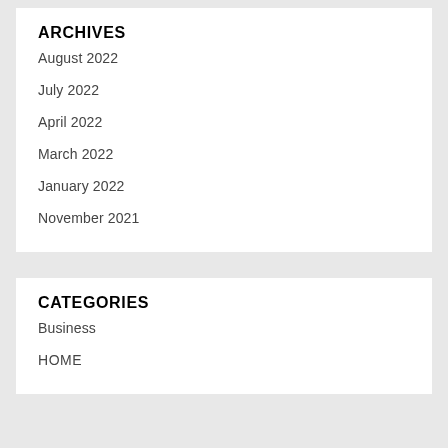ARCHIVES
August 2022
July 2022
April 2022
March 2022
January 2022
November 2021
CATEGORIES
Business
HOME